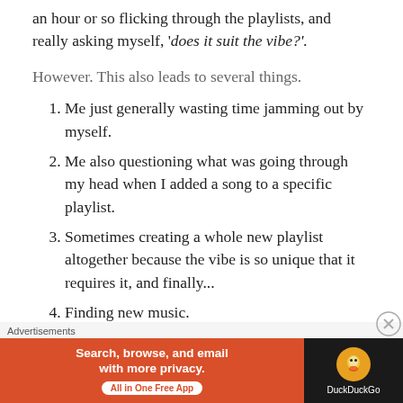an hour or so flicking through the playlists, and really asking myself, 'does it suit the vibe?'.
However. This also leads to several things.
Me just generally wasting time jamming out by myself.
Me also questioning what was going through my head when I added a song to a specific playlist.
Sometimes creating a whole new playlist altogether because the vibe is so unique that it requires it, and finally...
Finding new music.
[Figure (screenshot): DuckDuckGo advertisement banner: 'Search, browse, and email with more privacy. All in One Free App' on orange background with DuckDuckGo logo on dark background.]